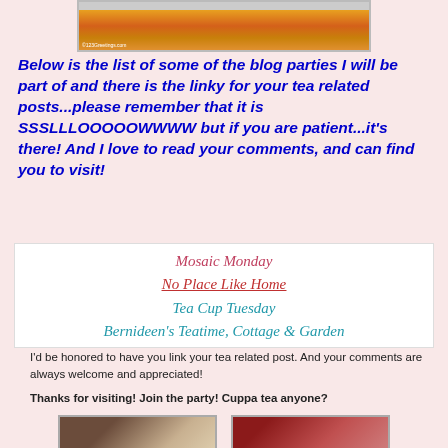[Figure (photo): Top banner image with autumn/floral colors, credited to 123greetings.com]
Below is the list of some of the blog parties I will be part of and there is the linky for your tea related posts...please remember that it is SSSLLLOOOOOWWWW but if you are patient...it's there! And I love to read your comments, and can find you to visit!
Mosaic Monday
No Place Like Home
Tea Cup Tuesday
Bernideen's Teatime, Cottage & Garden
I'd be honored to have you link your tea related post. And your comments are always welcome and appreciated!
Thanks for visiting! Join the party! Cuppa tea anyone?
[Figure (photo): Two small thumbnail images at bottom of page]
[Figure (photo): Second thumbnail image at bottom right]